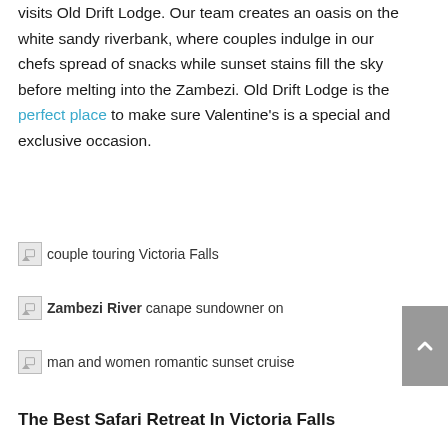visits Old Drift Lodge. Our team creates an oasis on the white sandy riverbank, where couples indulge in our chefs spread of snacks while sunset stains fill the sky before melting into the Zambezi. Old Drift Lodge is the perfect place to make sure Valentine's is a special and exclusive occasion.
[Figure (photo): Broken image placeholder with alt text: couple touring Victoria Falls]
[Figure (photo): Broken image placeholder with alt text: Zambezi River canape sundowner on]
Zambezi River canape sundowner on
[Figure (photo): Broken image placeholder with alt text: man and women romantic sunset cruise]
The Best Safari Retreat In Victoria Falls